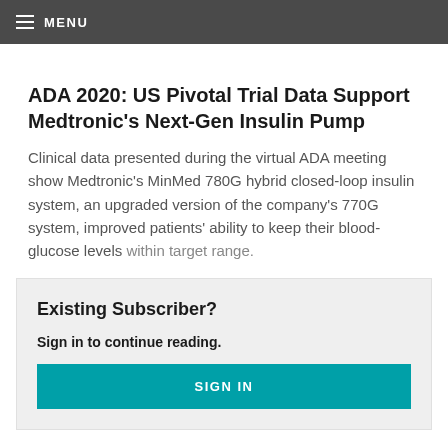MENU
ADA 2020: US Pivotal Trial Data Support Medtronic’s Next-Gen Insulin Pump
Clinical data presented during the virtual ADA meeting show Medtronic’s MinMed 780G hybrid closed-loop insulin system, an upgraded version of the company’s 770G system, improved patients’ ability to keep their blood-glucose levels within target range.
Existing Subscriber?
Sign in to continue reading.
SIGN IN
New to Medtech Insight?